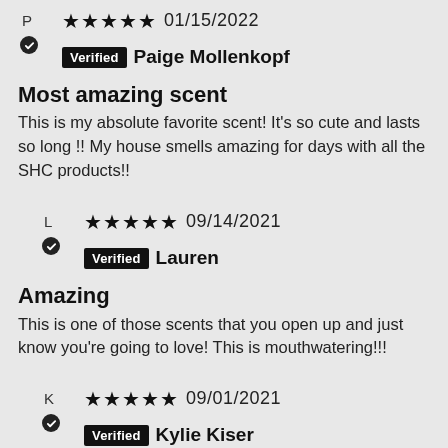★★★★★ 01/15/2022 Verified Paige Mollenkopf
Most amazing scent
This is my absolute favorite scent! It's so cute and lasts so long !! My house smells amazing for days with all the SHC products!!
★★★★★ 09/14/2021 Verified Lauren
Amazing
This is one of those scents that you open up and just know you're going to love! This is mouthwatering!!!
★★★★★ 09/01/2021 Verified Kylie Kiser
Obsessed!
I am so obsessed with this scent, it...